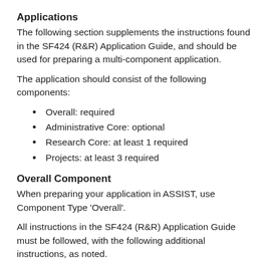Applications
The following section supplements the instructions found in the SF424 (R&R) Application Guide, and should be used for preparing a multi-component application.
The application should consist of the following components:
Overall: required
Administrative Core: optional
Research Core: at least 1 required
Projects: at least 3 required
Overall Component
When preparing your application in ASSIST, use Component Type ‘Overall’.
All instructions in the SF424 (R&R) Application Guide must be followed, with the following additional instructions, as noted.
SF424 (R&R) Cover (Overall)